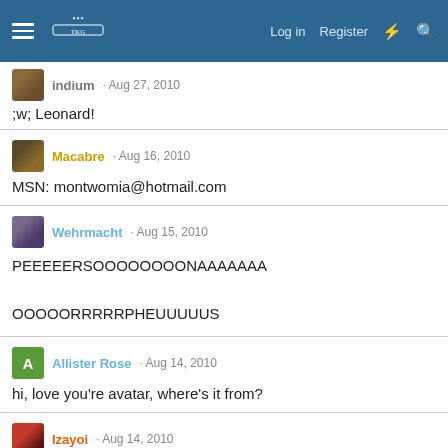TKG [logo] · Log in · Register
indium · Aug 27, 2010
;w; Leonard!
Macabre · Aug 16, 2010
MSN: montwomia@hotmail.com
Wehrmacht · Aug 15, 2010
PEEEEERSOOOOOOOONAAAAA

OOOOORRRRRPHEUUUUUS
Allister Rose · Aug 14, 2010
hi, love you're avatar, where's it from?
Izayoi · Aug 14, 2010
Ah, okay. They still appeal to me with their foreign-ness though.